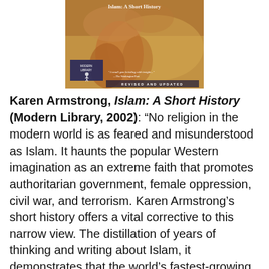[Figure (photo): Book cover of 'Islam: A Short History' by Karen Armstrong, Modern Library edition, revised and updated. Shows a close-up photograph of hands and sandy/golden background with a quote from The Washington Post and the Modern Library logo.]
Karen Armstrong, Islam: A Short History (Modern Library, 2002): “No religion in the modern world is as feared and misunderstood as Islam. It haunts the popular Western imagination as an extreme faith that promotes authoritarian government, female oppression, civil war, and terrorism. Karen Armstrong’s short history offers a vital corrective to this narrow view. The distillation of years of thinking and writing about Islam, it demonstrates that the world’s fastest-growing faith is a much richer and more complex phenomenon than its popular fundamentalist caricature.